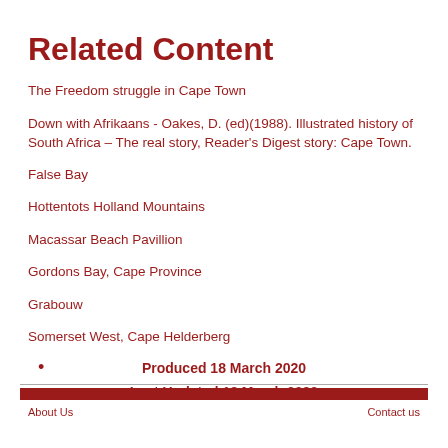Related Content
The Freedom struggle in Cape Town
Down with Afrikaans - Oakes, D. (ed)(1988). Illustrated history of South Africa – The real story, Reader's Digest story: Cape Town.
False Bay
Hottentots Holland Mountains
Macassar Beach Pavillion
Gordons Bay, Cape Province
Grabouw
Somerset West, Cape Helderberg
Produced 18 March 2020
Last Updated 18 March 2020
About Us   Contact us